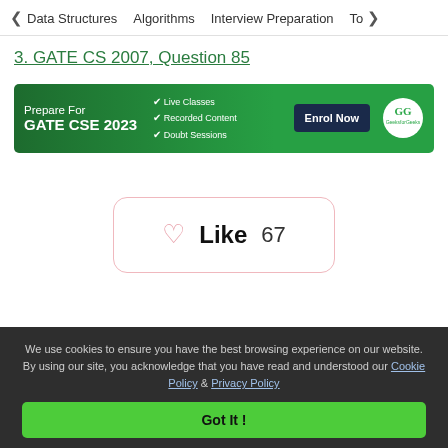< Data Structures   Algorithms   Interview Preparation   Top>
3. GATE CS 2007, Question 85
[Figure (infographic): GeeksforGeeks banner advertising GATE CSE 2023 preparation with Live Classes, Recorded Content, Doubt Sessions, Enrol Now button and GFG logo]
Like  67
We use cookies to ensure you have the best browsing experience on our website. By using our site, you acknowledge that you have read and understood our Cookie Policy & Privacy Policy
Got It !